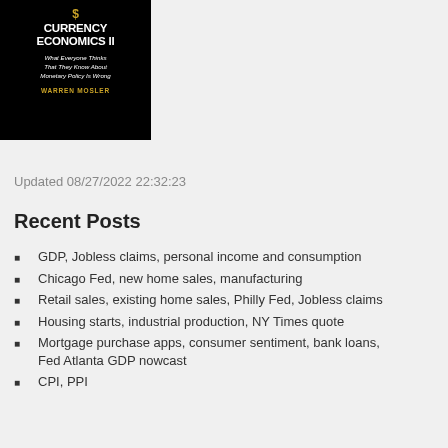[Figure (illustration): Book cover for 'Soft Currency Economics II' by Warren Mosler. Black background with gold/white text and gear imagery. Subtitle: 'What Everyone Thinks That They Know About Monetary Policy Is Wrong']
Updated 08/27/2022 22:32:23
Recent Posts
GDP, Jobless claims, personal income and consumption
Chicago Fed, new home sales, manufacturing
Retail sales, existing home sales, Philly Fed, Jobless claims
Housing starts, industrial production, NY Times quote
Mortgage purchase apps, consumer sentiment, bank loans, Fed Atlanta GDP nowcast
CPI, PPI